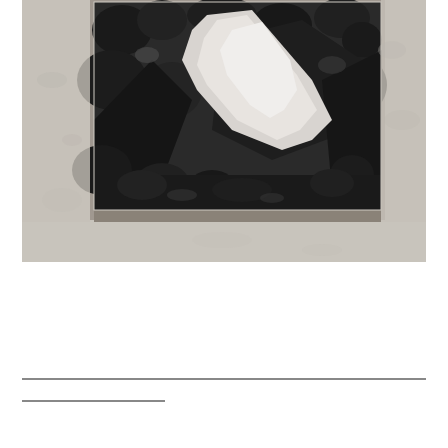[Figure (photo): Black and white photograph mounted on a textured white/grey wall. The photo shows a rocky mountain or canyon scene with dark jagged rocks and a prominent white diagonal streak (possibly ice, snow, or water) cutting across the center of the image. The photo is framed with a thin border and sits against a rough plaster-textured background.]